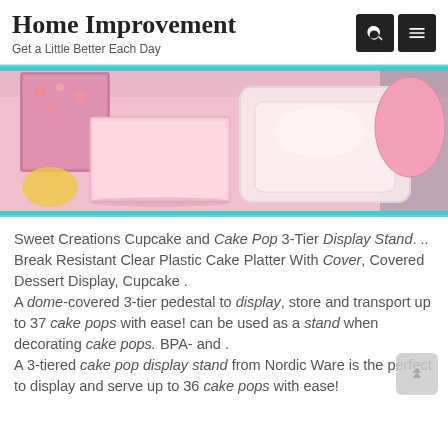Home Improvement
Get a Little Better Each Day
[Figure (photo): Pink party table with pink napkins, a clear plastic square container with lid, pink plates, and gift wrap items on a pink tablecloth]
Sweet Creations Cupcake and Cake Pop 3-Tier Display Stand. .. Break Resistant Clear Plastic Cake Platter With Cover, Covered Dessert Display, Cupcake .
A dome-covered 3-tier pedestal to display, store and transport up to 37 cake pops with ease! can be used as a stand when decorating cake pops. BPA- and .
A 3-tiered cake pop display stand from Nordic Ware is the perfect to display and serve up to 36 cake pops with ease!